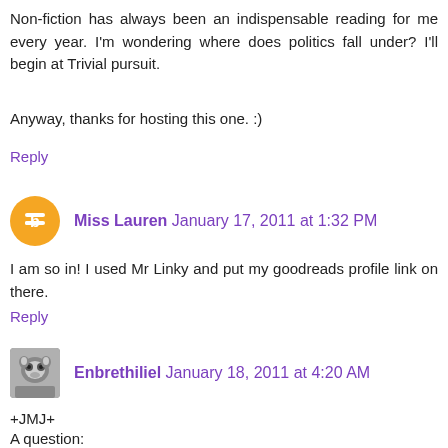Non-fiction has always been an indispensable reading for me every year. I'm wondering where does politics fall under? I'll begin at Trivial pursuit.
Anyway, thanks for hosting this one. :)
Reply
Miss Lauren  January 17, 2011 at 1:32 PM
I am so in! I used Mr Linky and put my goodreads profile link on there.
Reply
Enbrethiliel  January 18, 2011 at 4:20 AM
+JMJ+
A question:
Are "cross-overs" between challenges allowed? For instance, may the review of a book I read for the Foodie